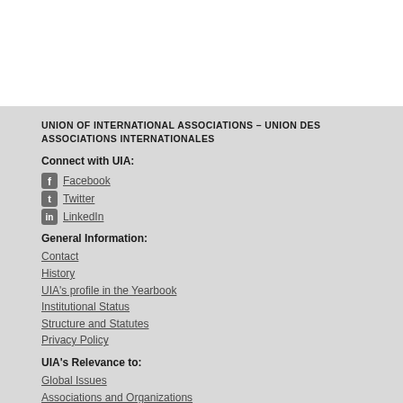UNION OF INTERNATIONAL ASSOCIATIONS – UNION DES ASSOCIATIONS INTERNATIONALES
Connect with UIA:
Facebook
Twitter
LinkedIn
General Information:
Contact
History
UIA's profile in the Yearbook
Institutional Status
Structure and Statutes
Privacy Policy
UIA's Relevance to:
Global Issues
Associations and Organizations
The Meetings Industry
Academics and Researchers